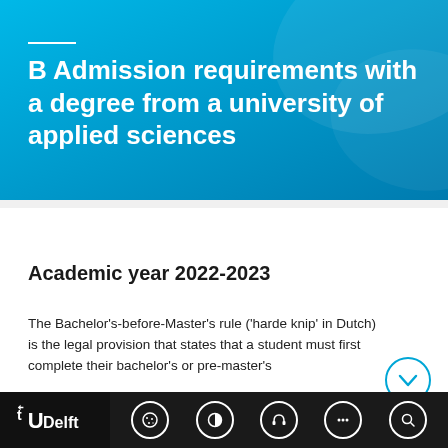B Admission requirements with a degree from a university of applied sciences
Academic year 2022-2023
The Bachelor's-before-Master's rule ('harde knip' in Dutch) is the legal provision that states that a student must first complete their bachelor's or pre-master's
TU Delft